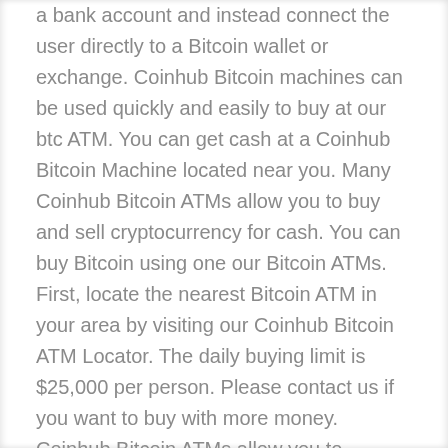a bank account and instead connect the user directly to a Bitcoin wallet or exchange. Coinhub Bitcoin machines can be used quickly and easily to buy at our btc ATM. You can get cash at a Coinhub Bitcoin Machine located near you. Many Coinhub Bitcoin ATMs allow you to buy and sell cryptocurrency for cash. You can buy Bitcoin using one our Bitcoin ATMs. First, locate the nearest Bitcoin ATM in your area by visiting our Coinhub Bitcoin ATM Locator. The daily buying limit is $25,000 per person. Please contact us if you want to buy with more money. Coinhub Bitcoin ATMs allow you to purchase bitcoin with cash and receive it instantly shortly after purchase at our Bitcoin ATM. Coinhub is the easiest way to buy Bitcoin online or locally. We have Bitcoin Machines in all major cities across the country! Bitcoin is sent instantly to your wallet upon purchase. For purchases over $2,000.00, all you need is a phone and cash. A